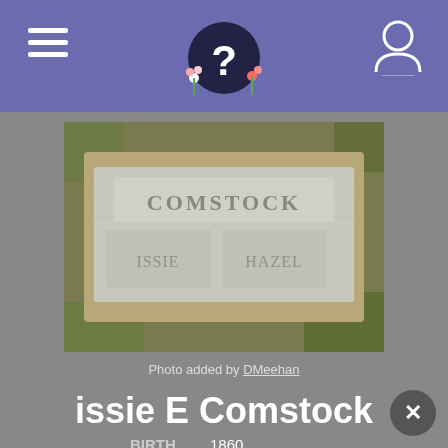Navigation header with hamburger menu, logo, and user icon
[Figure (photo): Photograph of a flat gravestone marker reading COMSTOCK with two name panels, surrounded by grass and soil]
Photo added by DMeehan
issie E Comstock
BIRTH  1860
DEATH  1948 (aged 87–88)
BURIAL  Sunnyside Cemetery